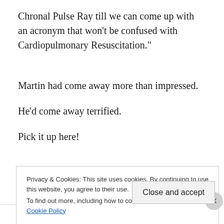Chronal Pulse Ray till we can come up with an acronym that won’t be confused with Cardiopulmonary Resuscitation.”
Martin had come away more than impressed.
He’d come away terrified.
Pick it up here!
Privacy & Cookies: This site uses cookies. By continuing to use this website, you agree to their use.
To find out more, including how to control cookies, see here: Cookie Policy
Close and accept
same page is easy. And free.